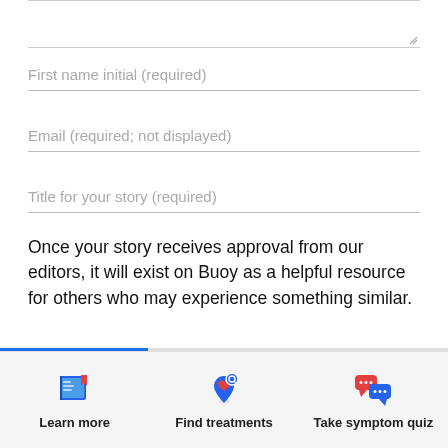First name initial (required)
Email (required; not displayed)
Title for your story (required)
Once your story receives approval from our editors, it will exist on Buoy as a helpful resource for others who may experience something similar.
[Figure (infographic): Bottom navigation bar with three icons and labels: Learn more (book icon), Find treatments (map pin with heart icon), Take symptom quiz (chat bubbles icon)]